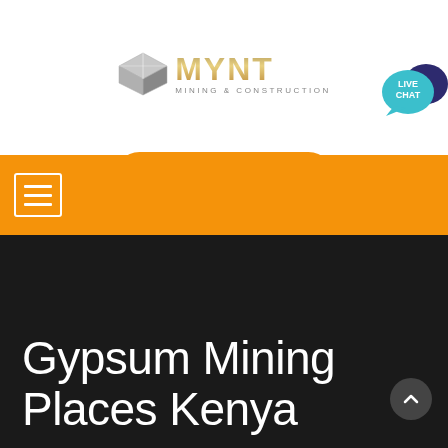[Figure (logo): MYNT Mining & Construction logo with silver cube icon and gold metallic text]
[Figure (other): Orange 'Chat now' rounded button and Live Chat speech bubble widget in top right]
[Figure (other): Orange navigation bar with white hamburger menu icon]
Gypsum Mining Places Kenya